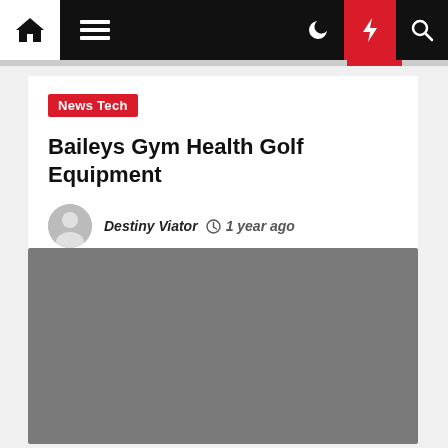News Tech navigation bar with home, menu, dark mode, lightning, and search icons
News Tech
Baileys Gym Health Golf Equipment
Destiny Viator  1 year ago
[Figure (photo): Gray placeholder image for article]